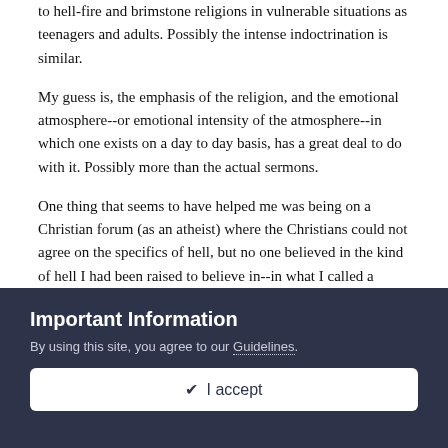to hell-fire and brimstone religions in vulnerable situations as teenagers and adults. Possibly the intense indoctrination is similar.
My guess is, the emphasis of the religion, and the emotional atmosphere--or emotional intensity of the atmosphere--in which one exists on a day to day basis, has a great deal to do with it. Possibly more than the actual sermons.
One thing that seems to have helped me was being on a Christian forum (as an atheist) where the Christians could not agree on the specifics of hell, but no one believed in the kind of hell I had been raised to believe in--in what I called a "biblical hell." They had such watered-down versions, yet insisted they were right and that they had biblical basis for their beliefs. Dante's hell was totally out as a medieval and unenlightened
Important Information
By using this site, you agree to our Guidelines.
✓ I accept